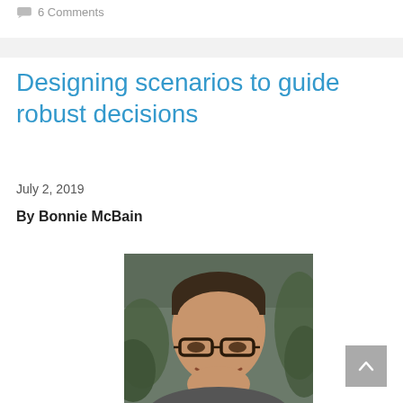6 Comments
Designing scenarios to guide robust decisions
July 2, 2019
By Bonnie McBain
[Figure (photo): Portrait photo of Bonnie McBain, a woman with short dark hair pulled back, wearing dark-framed glasses, smiling, with green foliage in the background.]